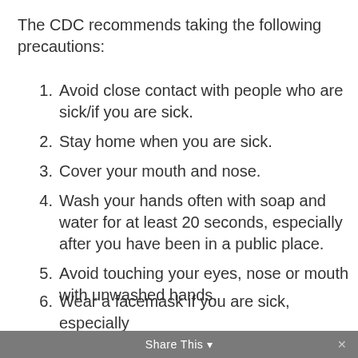The CDC recommends taking the following precautions:
Avoid close contact with people who are sick/if you are sick.
Stay home when you are sick.
Cover your mouth and nose.
Wash your hands often with soap and water for at least 20 seconds, especially after you have been in a public place.
Avoid touching your eyes, nose or mouth with unwashed hands.
Wear a facemask if you are sick, especially
Share This ×